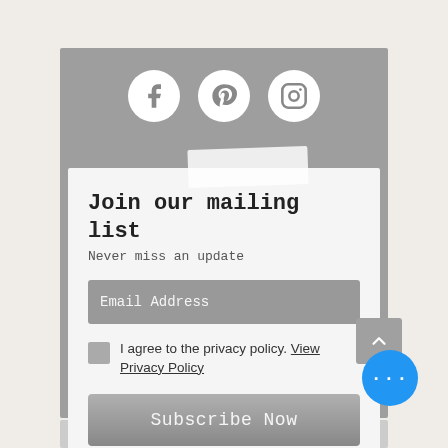[Figure (infographic): Social media icons row: Facebook, Pinterest, Instagram — white circles on gray background]
[Figure (infographic): White tape/label piece overlaid on top of white card]
Join our mailing list
Never miss an update
Email Address
I agree to the privacy policy. View Privacy Policy
Subscribe Now